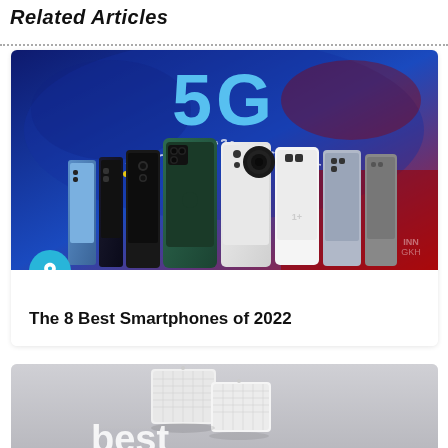Related Articles
[Figure (photo): Photo of multiple smartphones including iPhone 12 Pro lineup and Android phones displayed against a blue 5G background. The image shows 8 phones side by side with the text '5G' prominently displayed in the background.]
The 8 Best Smartphones of 2022
[Figure (photo): Partial photo showing white mesh router/networking devices against a gray background with partial text 'best' visible at the bottom.]